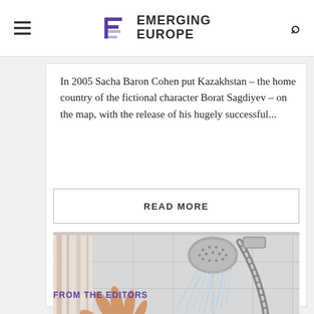EMERGING EUROPE
In 2005 Sacha Baron Cohen put Kazakhstan – the home country of the fictional character Borat Sagdiyev – on the map, with the release of his hugely successful...
READ MORE
[Figure (photo): A hand reaching toward a running shower head with water flowing, mounted on a white tiled wall with a chrome flexible hose.]
FROM THE EDITORS